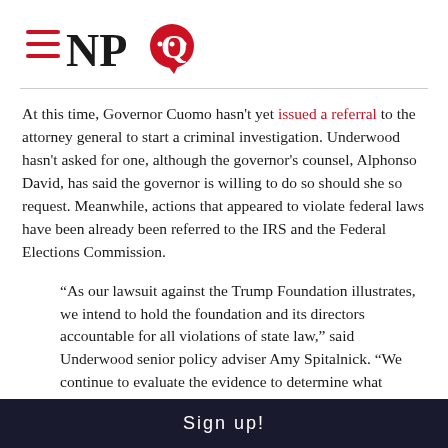[Figure (logo): NPQ logo with hamburger menu icon and red speech bubble]
At this time, Governor Cuomo hasn't yet issued a referral to the attorney general to start a criminal investigation. Underwood hasn't asked for one, although the governor's counsel, Alphonso David, has said the governor is willing to do so should she so request. Meanwhile, actions that appeared to violate federal laws have been already been referred to the IRS and the Federal Elections Commission.
“As our lawsuit against the Trump Foundation illustrates, we intend to hold the foundation and its directors accountable for all violations of state law,” said Underwood senior policy adviser Amy Spitalnick. “We continue to evaluate the evidence to determine what additional actions may be warranted and will seek a criminal referral
Sign up!